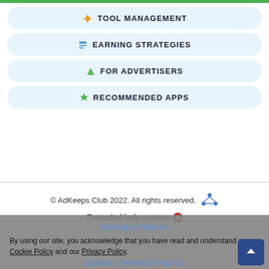🏠 TOOL MANAGEMENT
🏆 EARNING STRATEGIES
📌 FOR ADVERTISERS
💎 RECOMMENDED APPS
© AdKeeps Club 2022. All rights reserved.
Extended help system ❤
AdKeeps Platform
By using our site, you acknowledge that you have read and understand our Cookie Policy and our Privacy Policy.
COOKIE / PRIVACY POLICY
Understood